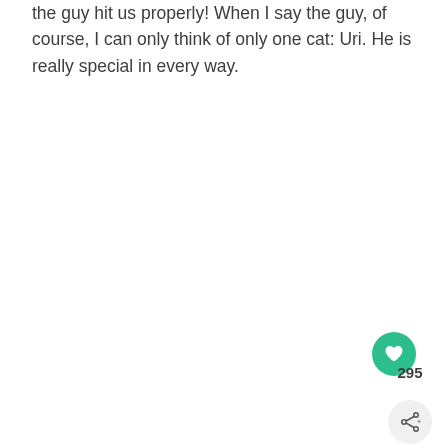the guy hit us properly! When I say the guy, of course, I can only think of only one cat: Uri. He is really special in every way.
[Figure (other): Green circular like/heart button with heart icon, like count of 295, and a share button below it positioned in the bottom-right corner]